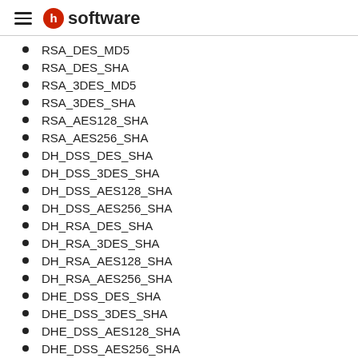software
RSA_DES_MD5
RSA_DES_SHA
RSA_3DES_MD5
RSA_3DES_SHA
RSA_AES128_SHA
RSA_AES256_SHA
DH_DSS_DES_SHA
DH_DSS_3DES_SHA
DH_DSS_AES128_SHA
DH_DSS_AES256_SHA
DH_RSA_DES_SHA
DH_RSA_3DES_SHA
DH_RSA_AES128_SHA
DH_RSA_AES256_SHA
DHE_DSS_DES_SHA
DHE_DSS_3DES_SHA
DHE_DSS_AES128_SHA
DHE_DSS_AES256_SHA